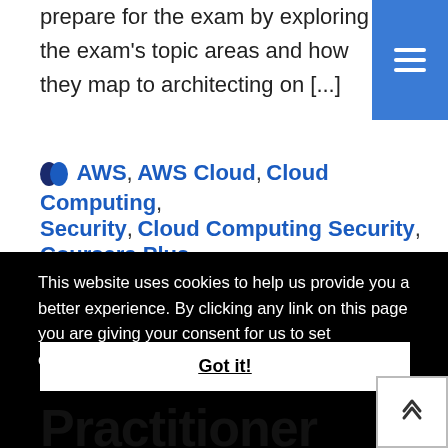prepare for the exam by exploring the exam's topic areas and how they map to architecting on [...]
AWS, AWS Cloud, Cloud Computing, Security, Cloud Computing Security, Coursera Plus
This website uses cookies to help us provide you a better experience. By clicking any link on this page you are giving your consent for us to set cookies. Learn more
Got it!
Practitioner